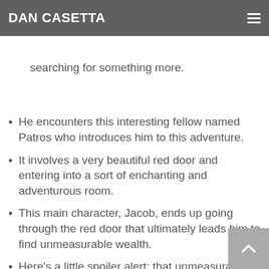DAN CASETTA
who's destined for something greater and is searching for something more.
He encounters this interesting fellow named Patros who introduces him to this adventure.
It involves a very beautiful red door and entering into a sort of enchanting and adventurous room.
This main character, Jacob, ends up going through the red door that ultimately leads him to find unmeasurable wealth.
Here's a little spoiler alert; that unmeasurable wealth has nothing to do with dollars or diamonds or gold.
It was just this way to articulate principles that could be understood through a different paradigm.